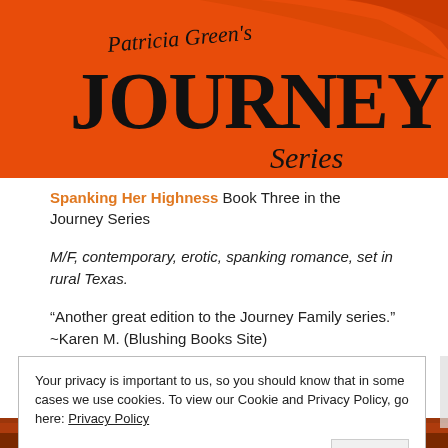[Figure (illustration): Patricia Green's Journey Series banner logo on orange-red background with decorative swirl design]
Spanking Her Highness Book Three in the Journey Series
M/F, contemporary, erotic, spanking romance, set in rural Texas.
“Another great edition to the Journey Family series.” ~Karen M. (Blushing Books Site)
Your privacy is important to us, so you should know that in some cases we use cookies. To view our Cookie and Privacy Policy, go here: Privacy Policy
[Figure (photo): Bottom partial image, dark reddish tones]